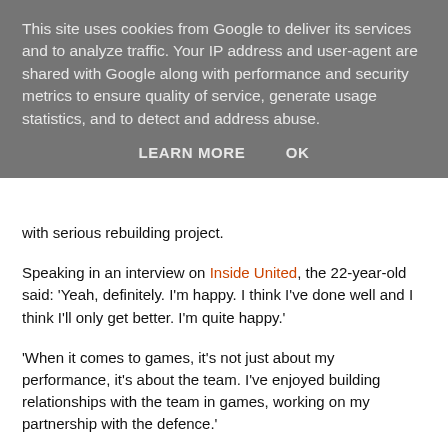This site uses cookies from Google to deliver its services and to analyze traffic. Your IP address and user-agent are shared with Google along with performance and security metrics to ensure quality of service, generate usage statistics, and to detect and address abuse.
LEARN MORE    OK
with serious rebuilding project.
Speaking in an interview on Inside United, the 22-year-old said: 'Yeah, definitely. I'm happy. I think I've done well and I think I'll only get better. I'm quite happy.'
'When it comes to games, it's not just about my performance, it's about the team. I've enjoyed building relationships with the team in games, working on my partnership with the defence.'
'We all go off each other, so that helps as well.'